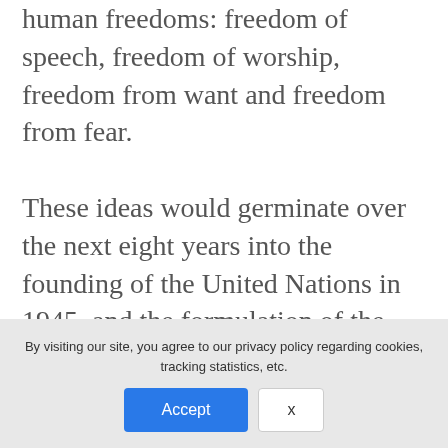human freedoms: freedom of speech, freedom of worship, freedom from want and freedom from fear. These ideas would germinate over the next eight years into the founding of the United Nations in 1945, and the formulation of the Universal Declaration of Human Rights (1948), the first article of which read: ‘All human beings are born free and equal in dignity and rights. They are endowed with reason and conscience and should act towards one
By visiting our site, you agree to our privacy policy regarding cookies, tracking statistics, etc.